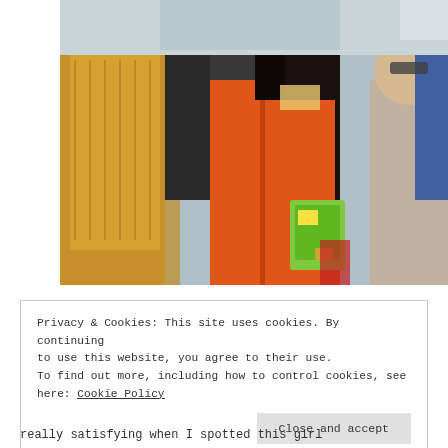[Figure (photo): Outdoor crowd scene with a young woman in an orange jacket holding her hand to her forehead, long dark hair, holding a colorful item. Other people visible in the background. One person on left in yellow/mustard knit top, others in dark and light clothing.]
Privacy & Cookies: This site uses cookies. By continuing to use this website, you agree to their use.
To find out more, including how to control cookies, see here: Cookie Policy

Close and accept
really satisfying when I spotted this girl